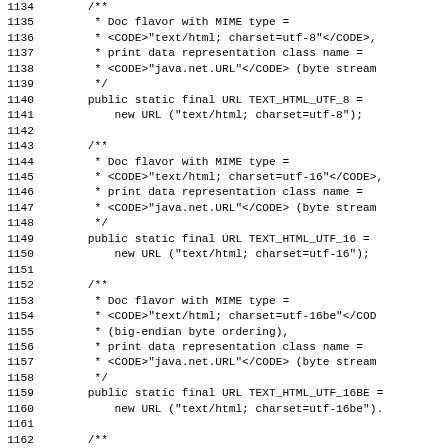Source code listing lines 1134–1163, showing Java doc comments and public static final URL field declarations for TEXT_HTML_UTF_8, TEXT_HTML_UTF_16, and TEXT_HTML_UTF_16BE doc flavors.